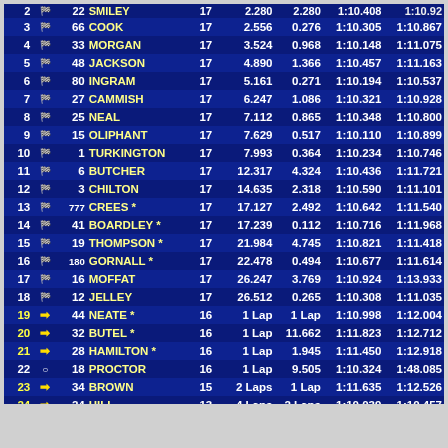| Pos |  | No | Name | Laps | Gap | Int | Best | Last |
| --- | --- | --- | --- | --- | --- | --- | --- | --- |
| 2 | 🏁 | 22 | SMILEY | 17 | 2.280 | 2.280 | 1:10.408 | 1:10.92 |
| 3 | 🏁 | 66 | COOK | 17 | 2.556 | 0.276 | 1:10.305 | 1:10.867 |
| 4 | 🏁 | 33 | MORGAN | 17 | 3.524 | 0.968 | 1:10.148 | 1:11.075 |
| 5 | 🏁 | 48 | JACKSON | 17 | 4.890 | 1.366 | 1:10.457 | 1:11.163 |
| 6 | 🏁 | 80 | INGRAM | 17 | 5.161 | 0.271 | 1:10.194 | 1:10.537 |
| 7 | 🏁 | 27 | CAMMISH | 17 | 6.247 | 1.086 | 1:10.321 | 1:10.928 |
| 8 | 🏁 | 25 | NEAL | 17 | 7.112 | 0.865 | 1:10.348 | 1:10.800 |
| 9 | 🏁 | 15 | OLIPHANT | 17 | 7.629 | 0.517 | 1:10.110 | 1:10.899 |
| 10 | 🏁 | 1 | TURKINGTON | 17 | 7.993 | 0.364 | 1:10.234 | 1:10.746 |
| 11 | 🏁 | 6 | BUTCHER | 17 | 12.317 | 4.324 | 1:10.436 | 1:11.721 |
| 12 | 🏁 | 3 | CHILTON | 17 | 14.635 | 2.318 | 1:10.590 | 1:11.101 |
| 13 | 🏁 | 777 | CREES * | 17 | 17.127 | 2.492 | 1:10.642 | 1:11.540 |
| 14 | 🏁 | 41 | BOARDLEY * | 17 | 17.239 | 0.112 | 1:10.716 | 1:11.968 |
| 15 | 🏁 | 19 | THOMPSON * | 17 | 21.984 | 4.745 | 1:10.821 | 1:11.418 |
| 16 | 🏁 | 180 | GORNALL * | 17 | 22.478 | 0.494 | 1:10.677 | 1:11.614 |
| 17 | 🏁 | 16 | MOFFAT | 17 | 26.247 | 3.769 | 1:10.924 | 1:13.933 |
| 18 | 🏁 | 12 | JELLEY | 17 | 26.512 | 0.265 | 1:10.308 | 1:11.035 |
| 19 | → | 44 | NEATE * | 16 | 1 Lap | 1 Lap | 1:10.998 | 1:12.004 |
| 20 | → | 32 | BUTEL * | 16 | 1 Lap | 11.662 | 1:11.823 | 1:12.712 |
| 21 | → | 28 | HAMILTON * | 16 | 1 Lap | 1.945 | 1:11.450 | 1:12.918 |
| 22 | ○ | 18 | PROCTOR | 16 | 1 Lap | 9.505 | 1:10.324 | 1:48.085 |
| 23 | → | 34 | BROWN | 15 | 2 Laps | 1 Lap | 1:11.635 | 1:12.526 |
| 24 | → | 24 | HILL | 13 | 4 Laps | 2 Laps | 1:10.039 | 1:10.457 |